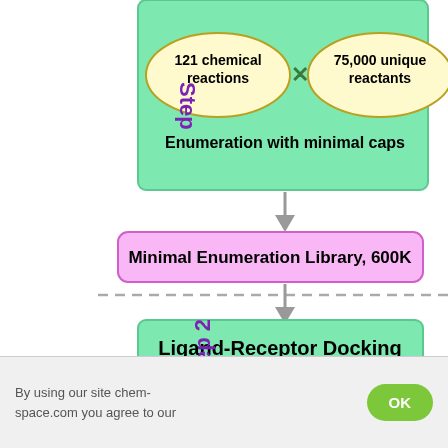[Figure (flowchart): Flowchart showing Step 1 (Enumeration with minimal caps: 121 chemical reactions × 75,000 unique reactants → Minimal Enumeration Library 600K) and Step 2 (Ligand-Receptor Docking: Selection based on docking scores (and poses) → Top Minimal Fragments ~1-10K). Steps labeled on left side in purple.]
By using our site chem-space.com you agree to our
OK